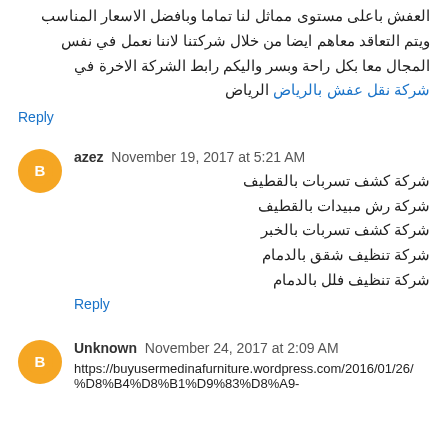العفش باعلى مستوى مماثل لنا تماما وبافضل الاسعار المناسب ويتم التعاقد معاهم ايضا من خلال شركتنا لاننا نعمل في نفس المجال معا بكل راحة وبسر واليكم رابط الشركة الاخرة في الرياض شركة نقل عفش بالرياض
Reply
azez  November 19, 2017 at 5:21 AM
شركة كشف تسربات بالقطيف
شركة رش مبيدات بالقطيف
شركة كشف تسربات بالخبر
شركة تنظيف شقق بالدمام
شركة تنظيف فلل بالدمام
Reply
Unknown  November 24, 2017 at 2:09 AM
https://buyusermedinafurniture.wordpress.com/2016/01/26/%D8%B4%D8%B1%D9%83%D8%A9-